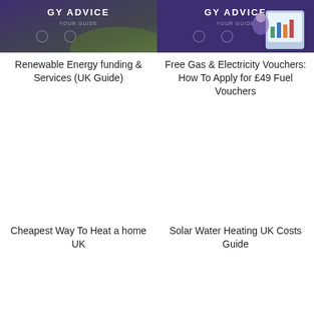[Figure (illustration): Dark purple banner image with text 'GY ADVICE' and green landscape/nature scene overlay]
Renewable Energy funding & Services (UK Guide)
[Figure (illustration): Dark purple banner image with text 'GY ADVICE' and a person holding a tablet with charts]
Free Gas & Electricity Vouchers: How To Apply for £49 Fuel Vouchers
[Figure (illustration): White/blank image placeholder for Cheapest Way To Heat a home UK article]
Cheapest Way To Heat a home UK
[Figure (illustration): White/blank image placeholder for Solar Water Heating UK Costs Guide article]
Solar Water Heating UK Costs Guide